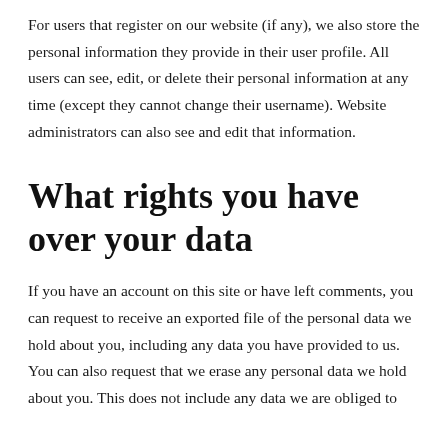For users that register on our website (if any), we also store the personal information they provide in their user profile. All users can see, edit, or delete their personal information at any time (except they cannot change their username). Website administrators can also see and edit that information.
What rights you have over your data
If you have an account on this site or have left comments, you can request to receive an exported file of the personal data we hold about you, including any data you have provided to us. You can also request that we erase any personal data we hold about you. This does not include any data we are obliged to